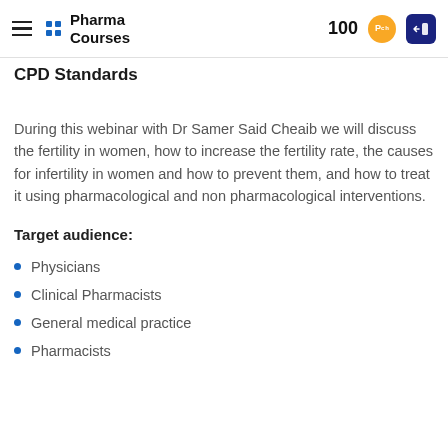Pharma Courses | 100 points
CPD Standards
During this webinar with Dr Samer Said Cheaib we will discuss the fertility in women, how to increase the fertility rate, the causes for infertility in women and how to prevent them, and how to treat it using pharmacological and non pharmacological interventions.
Target audience:
Physicians
Clinical Pharmacists
General medical practice
Pharmacists